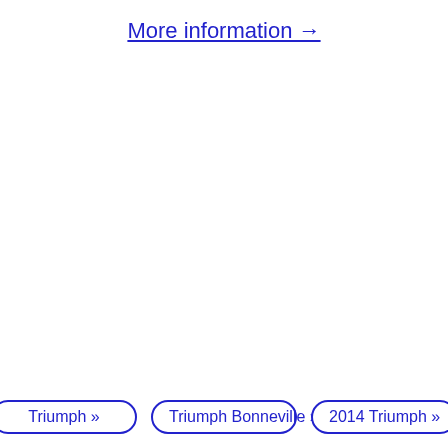More information →
Triumph »
Triumph Bonneville »
2014 Triumph »